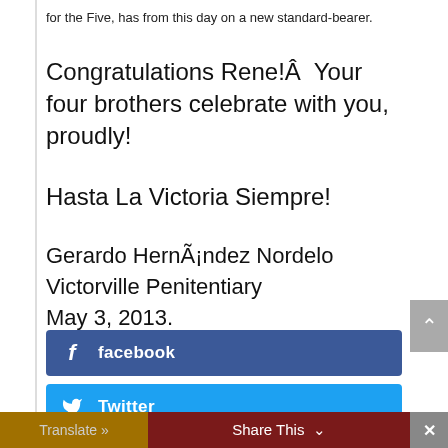for the Five, has from this day on a new standard-bearer.
Congratulations Rene!Â  Your four brothers celebrate with you, proudly!
Hasta La Victoria Siempre!
Gerardo HernÃ¡ndez Nordelo
Victorville Penitentiary
May 3, 2013.
facebook
Twitter
Translate »   Share This ∨   ×